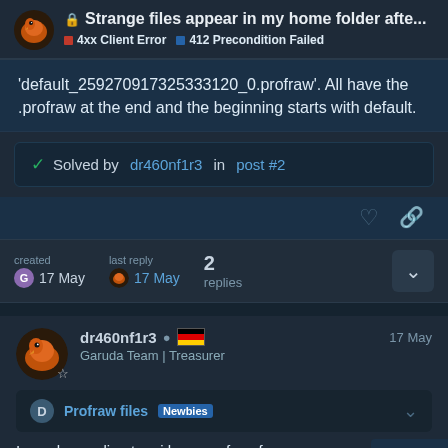Strange files appear in my home folder afte... | 4xx Client Error | 412 Precondition Failed
'default_259270917325333120_0.profraw'. All have the .profraw at the end and the beginning starts with default.
Solved by dr460nf1r3 in post #2
created 17 May | last reply 17 May | 2 replies
dr460nf1r3 | Garuda Team | Treasurer | 17 May
Profraw files | Newbies
In my home directory i have profraw f (default_94248283717184 1843_0.pro
1 / 3